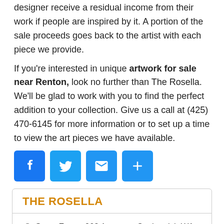designer receive a residual income from their work if people are inspired by it. A portion of the sale proceeds goes back to the artist with each piece we provide.
If you're interested in unique artwork for sale near Renton, look no further than The Rosella. We'll be glad to work with you to find the perfect addition to your collection. Give us a call at (425) 470-6145 for more information or to set up a time to view the art pieces we have available.
[Figure (infographic): Four social sharing icons in a row: Facebook (blue f), Twitter (blue bird), Email (blue envelope), Share/More (blue plus sign)]
THE ROSELLA
Store Front: 902 1st street Snohomish WA 98290